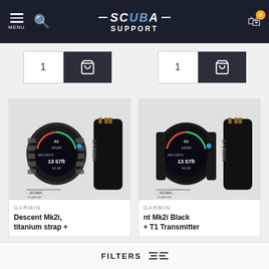SCUBA SUPPORT — navigation header with menu, search, logo, and cart
[Figure (photo): Quantity selector (showing 1) and dark add-to-cart button with shopping cart icon — left product]
[Figure (photo): Quantity selector (showing 1) and dark add-to-cart button with shopping cart icon — right product]
[Figure (photo): Garmin Descent Mk2i smartwatch with titanium bracelet and T1 transmitter, SCUBA SUPPORT logo watermark]
GARMIN
Descent Mk2i, titanium strap +
[Figure (photo): Garmin Descent Mk2i Black smartwatch with silicone strap and T1 Transmitter, SCUBA SUPPORT logo watermark]
GARMIN
nt Mk2i Black + T1 Transmitter
FILTERS